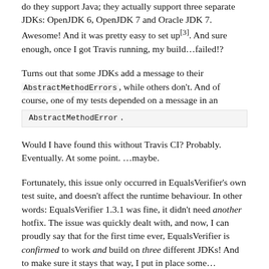do they support Java; they actually support three separate JDKs: OpenJDK 6, OpenJDK 7 and Oracle JDK 7. Awesome! And it was pretty easy to set up[3]. And sure enough, once I got Travis running, my build…failed!?
Turns out that some JDKs add a message to their AbstractMethodErrors, while others don't. And of course, one of my tests depended on a message in an AbstractMethodError.
Would I have found this without Travis CI? Probably. Eventually. At some point. …maybe.
Fortunately, this issue only occurred in EqualsVerifier's own test suite, and doesn't affect the runtime behaviour. In other words: EqualsVerifier 1.3.1 was fine, it didn't need another hotfix. The issue was quickly dealt with, and now, I can proudly say that for the first time ever, EqualsVerifier is confirmed to work and build on three different JDKs! And to make sure it stays that way, I put in place some…